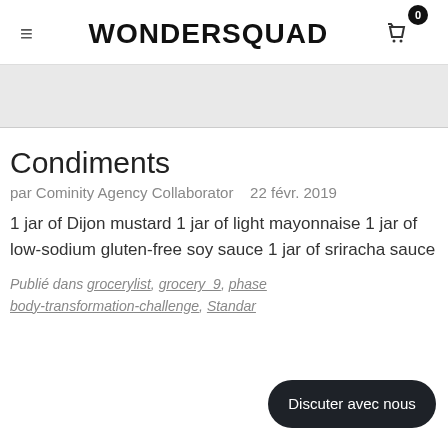WONDERSQUAD
Condiments
par Cominity Agency Collaborator   22 févr. 2019
1 jar of Dijon mustard 1 jar of light mayonnaise 1 jar of low-sodium gluten-free soy sauce 1 jar of sriracha sauce
Publié dans grocerylist, grocery_9, phase…te-body-transformation-challenge, Standar…